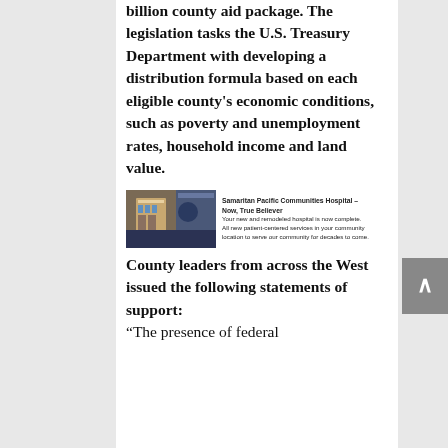billion county aid package. The legislation tasks the U.S. Treasury Department with developing a distribution formula based on each eligible county's economic conditions, such as poverty and unemployment rates, household income and land value.
[Figure (photo): Advertisement banner for Samaritan Pacific Communities Hospital - Now, True Believer. Shows a building image on the left with text on the right describing the hospital as a new patient-centered care facility.]
County leaders from across the West issued the following statements of support:
“The presence of federal